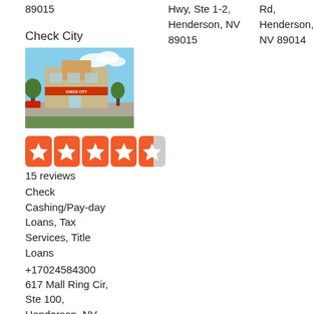89015
Hwy, Ste 1-2, Henderson, NV 89015
Rd, Henderson, NV 89014
Check City
[Figure (photo): Exterior photo of a Check City store building with blue sky background]
[Figure (other): Yelp star rating display showing approximately 4.5 stars out of 5 in red/orange star boxes]
15 reviews
Check Cashing/Pay-day Loans, Tax Services, Title Loans
+17024584300
617 Mall Ring Cir, Ste 100, Henderson, NV